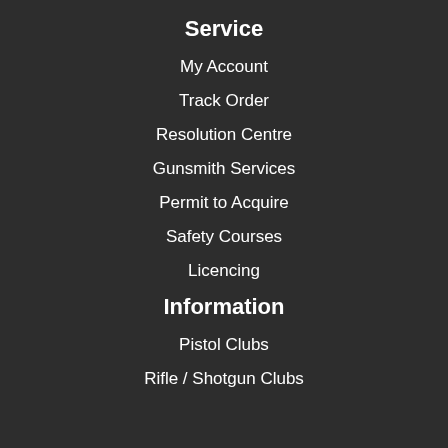Service
My Account
Track Order
Resolution Centre
Gunsmith Services
Permit to Acquire
Safety Courses
Licencing
Information
Pistol Clubs
Rifle / Shotgun Clubs